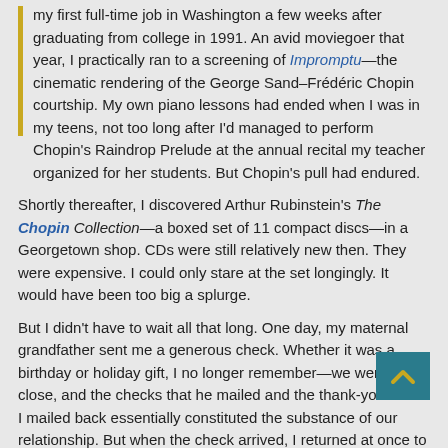my first full-time job in Washington a few weeks after graduating from college in 1991. An avid moviegoer that year, I practically ran to a screening of Impromptu—the cinematic rendering of the George Sand–Frédéric Chopin courtship. My own piano lessons had ended when I was in my teens, not too long after I'd managed to perform Chopin's Raindrop Prelude at the annual recital my teacher organized for her students. But Chopin's pull had endured.
Shortly thereafter, I discovered Arthur Rubinstein's The Chopin Collection—a boxed set of 11 compact discs—in a Georgetown shop. CDs were still relatively new then. They were expensive. I could only stare at the set longingly. It would have been too big a splurge.
But I didn't have to wait all that long. One day, my maternal grandfather sent me a generous check. Whether it was a birthday or holiday gift, I no longer remember—we were not close, and the checks that he mailed and the thank-you notes I mailed back essentially constituted the substance of our relationship. But when the check arrived, I returned at once to the store where I'd found the Rubinstein Chopin collection. And I bought it.
Over the next 20 years that boxed set has influenced a "grand passion" of my own: writing. I've been careful to bring the full set